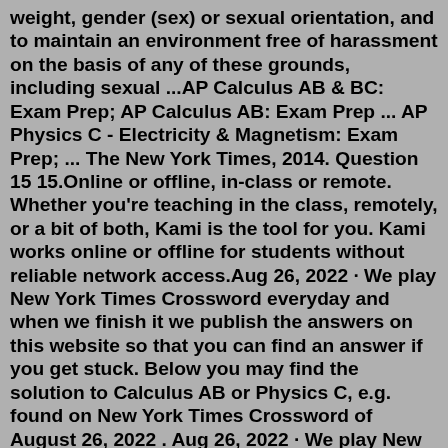weight, gender (sex) or sexual orientation, and to maintain an environment free of harassment on the basis of any of these grounds, including sexual ...AP Calculus AB & BC: Exam Prep; AP Calculus AB: Exam Prep ... AP Physics C - Electricity & Magnetism: Exam Prep; ... The New York Times, 2014. Question 15 15.Online or offline, in-class or remote. Whether you're teaching in the class, remotely, or a bit of both, Kami is the tool for you. Kami works online or offline for students without reliable network access.Aug 26, 2022 · We play New York Times Crossword everyday and when we finish it we publish the answers on this website so that you can find an answer if you get stuck. Below you may find the solution to Calculus AB or Physics C, e.g. found on New York Times Crossword of August 26, 2022 . Aug 26, 2022 · We play New York Times Crossword everyday and when we finish it we publish the answers on this website so that you can find an answer if you get stuck. Below you may find the solution to Calculus AB or Physics C, e.g. found on